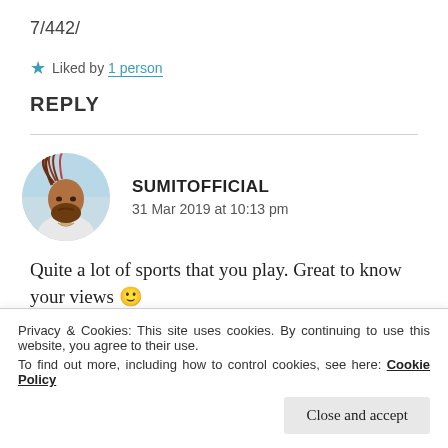7/442/
★ Liked by 1 person
REPLY
[Figure (photo): Circular avatar photo of a bearded man with dreadlocks, light blue sky background]
SUMITOFFICIAL
31 Mar 2019 at 10:13 pm
Quite a lot of sports that you play. Great to know your views 🙂
Privacy & Cookies: This site uses cookies. By continuing to use this website, you agree to their use.
To find out more, including how to control cookies, see here: Cookie Policy